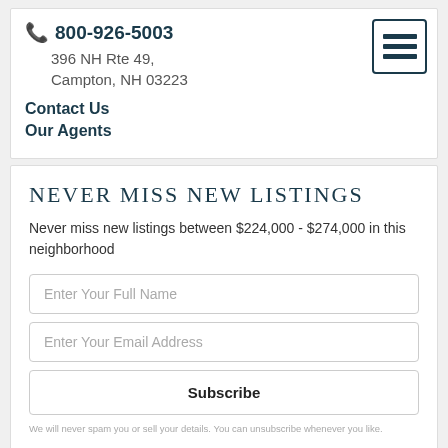📞 800-926-5003
396 NH Rte 49, Campton, NH 03223
Contact Us
Our Agents
NEVER MISS NEW LISTINGS
Never miss new listings between $224,000 - $274,000 in this neighborhood
Enter Your Full Name
Enter Your Email Address
Subscribe
We will never spam you or sell your details. You can unsubscribe whenever you like.
Contact Us
Schedule a Visit